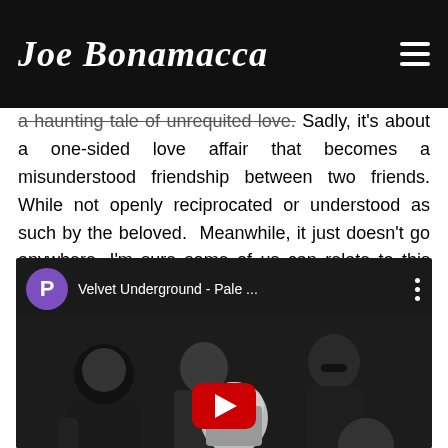Joe Bonamassa
a haunting tale of unrequited love. Sadly, it's about a one-sided love affair that becomes a misunderstood friendship between two friends. While not openly reciprocated or understood as such by the beloved. Meanwhile, it just doesn't go anywhere. I'm sure some of us can relate to this situation.
[Figure (screenshot): YouTube video embed showing Velvet Underground - Pale ... with a thumbnail photo of the band members in black and white, featuring a woman with blonde hair in the center, other band members around her, and a red YouTube play button overlay. A purple avatar with letter P and the video title are shown at the top.]